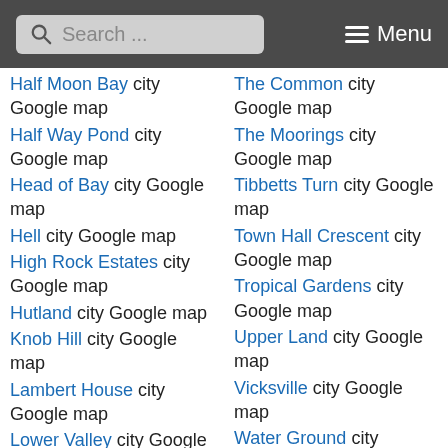Search ... Menu
Half Moon Bay city Google map
The Common city Google map
Half Way Pond city Google map
The Moorings city Google map
Head of Bay city Google map
Tibbetts Turn city Google map
Hell city Google map
Town Hall Crescent city Google map
High Rock Estates city Google map
Tropical Gardens city Google map
Hutland city Google map
Upper Land city Google map
Knob Hill city Google map
Vicksville city Google map
Lambert House city Google map
Water Ground city Google
Lower Valley city Google